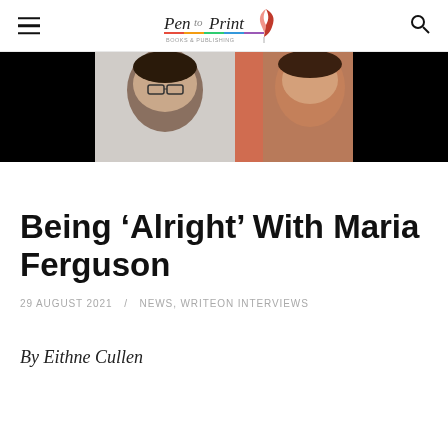Pen to Print [logo with feather icon]
[Figure (photo): Cropped header photo showing two women in a video call screenshot, one with glasses, against a dark/black background]
Being ‘Alright’ With Maria Ferguson
29 AUGUST 2021  /  NEWS, WRITEON INTERVIEWS
By Eithne Cullen